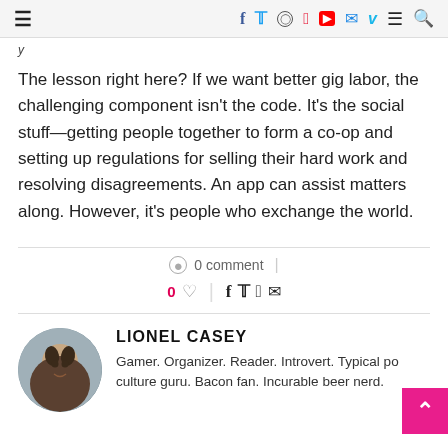☰ f t ⊙ p ▶ ✉ v ≡ 🔍
The lesson right here? If we want better gig labor, the challenging component isn't the code. It's the social stuff—getting people together to form a co-op and setting up regulations for selling their hard work and resolving disagreements. An app can assist matters along. However, it's people who exchange the world.
0 comment
0 ♡  f  t  p  ✉
LIONEL CASEY
Gamer. Organizer. Reader. Introvert. Typical pop culture guru. Bacon fan. Incurable beer nerd.